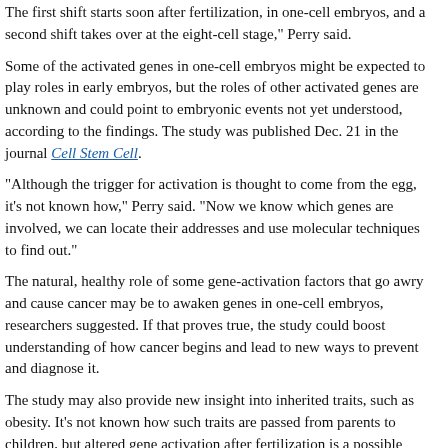The first shift starts soon after fertilization, in one-cell embryos, and a second shift takes over at the eight-cell stage," Perry said.
Some of the activated genes in one-cell embryos might be expected to play roles in early embryos, but the roles of other activated genes are unknown and could point to embryonic events not yet understood, according to the findings. The study was published Dec. 21 in the journal Cell Stem Cell.
"Although the trigger for activation is thought to come from the egg, it's not known how," Perry said. "Now we know which genes are involved, we can locate their addresses and use molecular techniques to find out."
The natural, healthy role of some gene-activation factors that go awry and cause cancer may be to awaken genes in one-cell embryos, researchers suggested. If that proves true, the study could boost understanding of how cancer begins and lead to new ways to prevent and diagnose it.
The study may also provide new insight into inherited traits, such as obesity. It's not known how such traits are passed from parents to children, but altered gene activation after fertilization is a possible mechanism, according to the researchers.
"If true, we should be able to see this altered gene activation